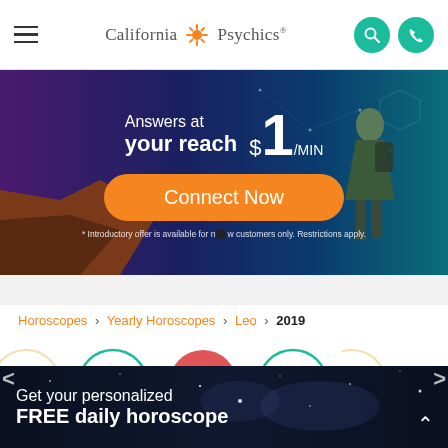California Psychics
[Figure (infographic): Promotional banner: Answers at your reach $1/MIN with a Connect Now button and fine print about introductory offer]
Horoscopes > Yearly Horoscopes > Leo > 2019
[Figure (infographic): Zodiac sign carousel showing Gemini, Cancer, Leo (selected/active), Virgo, Libra with circular icons]
[Figure (infographic): Bottom banner: Get your personalized FREE daily horoscope over a starry night sky background]